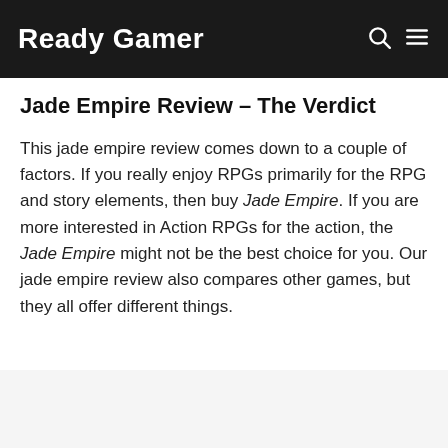Ready Gamer
Jade Empire Review – The Verdict
This jade empire review comes down to a couple of factors. If you really enjoy RPGs primarily for the RPG and story elements, then buy Jade Empire. If you are more interested in Action RPGs for the action, the Jade Empire might not be the best choice for you. Our jade empire review also compares other games, but they all offer different things.